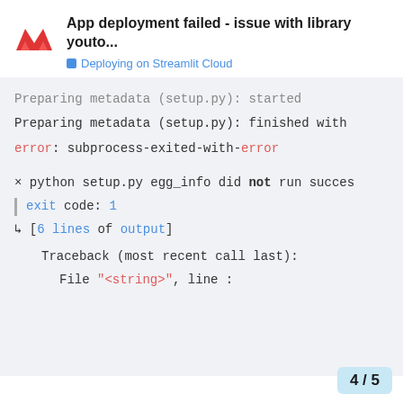App deployment failed - issue with library youto...
Deploying on Streamlit Cloud
Preparing metadata (setup.py): started

Preparing metadata (setup.py): finished with

error: subprocess-exited-with-error

× python setup.py egg_info did not run succes
| exit code: 1
↳ [6 lines of output]
    Traceback (most recent call last):
      File "<string>", line :
4 / 5